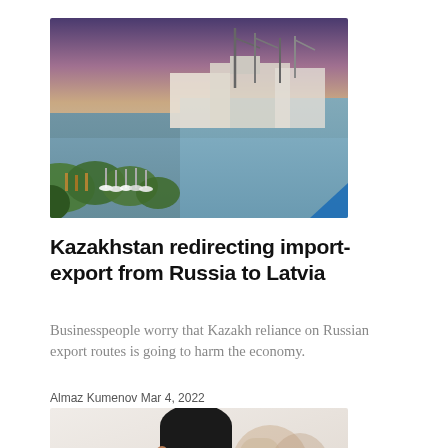[Figure (photo): Aerial view of a port/harbor with boats, cranes, industrial buildings, and water under twilight sky]
Kazakhstan redirecting import-export from Russia to Latvia
Businesspeople worry that Kazakh reliance on Russian export routes is going to harm the economy.
Almaz Kumenov Mar 4, 2022
[Figure (photo): Close-up photo of a man's head/face, partially visible, light background]